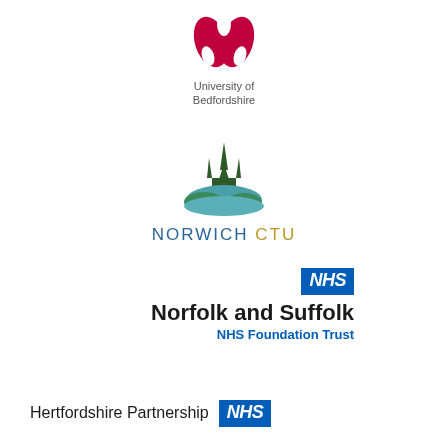[Figure (logo): University of Bedfordshire logo — two red leaf/petal shapes forming a crown or seed pod above the institution name]
[Figure (logo): Norwich CTU logo — dark green spire/cathedral with blue-green rolling hills at base, text NORWICH CTU below]
[Figure (logo): NHS Norfolk and Suffolk NHS Foundation Trust logo — NHS blue badge top right, bold text Norfolk and Suffolk below, NHS Foundation Trust in blue]
[Figure (logo): Hertfordshire Partnership NHS logo — text Hertfordshire Partnership with NHS blue badge to the right]